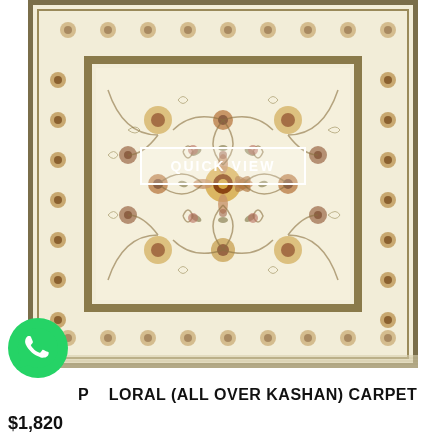[Figure (photo): A cream/ivory colored Persian-style floral Kashan carpet with intricate all-over botanical patterns in brown, rust, and taupe tones with a decorative border. A 'QUICK VIEW' button overlay is visible in the center.]
[Figure (logo): WhatsApp green circular logo icon in the bottom-left corner]
P LORAL (ALL OVER KASHAN) CARPET
$1,820